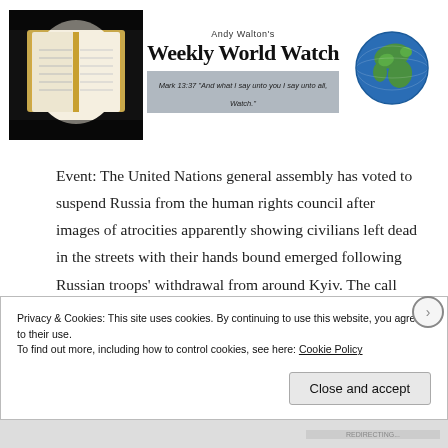[Figure (logo): Andy Walton's Weekly World Watch banner with Bible image on left, title text in center, globe image on right, and scripture verse strip]
Event: The United Nations general assembly has voted to suspend Russia from the human rights council after images of atrocities apparently showing civilians left dead in the streets with their hands bound emerged following Russian troops' withdrawal from around Kyiv. The call for Russia's removal from the UN's top human rights
Privacy & Cookies: This site uses cookies. By continuing to use this website, you agree to their use.
To find out more, including how to control cookies, see here: Cookie Policy
Close and accept